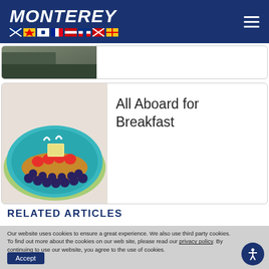MONTEREY
[Figure (photo): Partial view of a boat or marine scene, partially cropped]
All Aboard for Breakfast
[Figure (photo): A pancake decorated with fruit to look like a boat on a blue plate]
RELATED ARTICLES
Our website uses cookies to ensure a great experience. We also use third party cookies. To find out more about the cookies on our web site, please read our privacy policy. By continuing to use our website, you agree to the use of cookies.
Accept